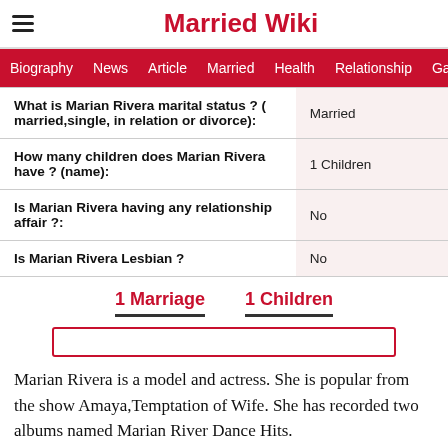Married Wiki
| Question | Answer |
| --- | --- |
| What is Marian Rivera marital status ? ( married,single, in relation or divorce): | Married |
| How many children does Marian Rivera have ? (name): | 1 Children |
| Is Marian Rivera having any relationship affair ?: | No |
| Is Marian Rivera Lesbian ? | No |
1 Marriage    1 Children
Marian Rivera is a model and actress. She is popular from the show Amaya,Temptation of Wife. She has recorded two albums named Marian River Dance Hits.